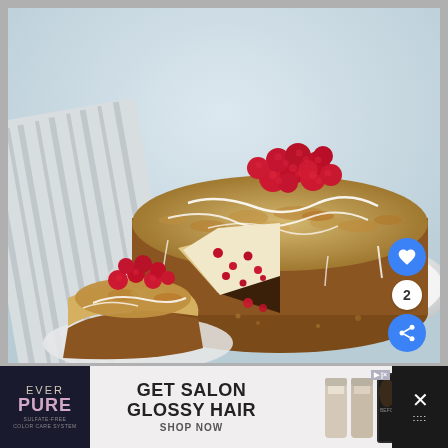[Figure (photo): A round coffee cake with crumble topping and white glaze drizzle, topped with fresh red raspberries. A slice has been cut out revealing raspberry-studded interior. A separate slice with raspberries on top sits in the foreground on a small plate. The cake rests on a white plate on a light blue-grey surface with a striped cloth napkin in background. Social media buttons (heart/like and share) are visible on the right side.]
[Figure (infographic): Advertisement banner for EverPure sulfate-free hair care. Left section has dark background with 'EVER PURE' branding. Center reads 'GET SALON GLOSSY HAIR SHOP NOW'. Right section shows product tubes and before/after hair comparison images. Far right has dark panel with X close button.]